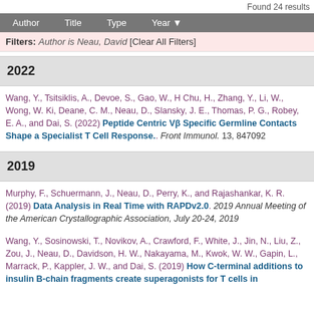Found 24 results
Author | Title | Type | Year
Filters: Author is Neau, David [Clear All Filters]
2022
Wang, Y., Tsitsiklis, A., Devoe, S., Gao, W., H Chu, H., Zhang, Y., Li, W., Wong, W. Ki, Deane, C. M., Neau, D., Slansky, J. E., Thomas, P. G., Robey, E. A., and Dai, S. (2022) Peptide Centric Vβ Specific Germline Contacts Shape a Specialist T Cell Response.. Front Immunol. 13, 847092
2019
Murphy, F., Schuermann, J., Neau, D., Perry, K., and Rajashankar, K. R. (2019) Data Analysis in Real Time with RAPDv2.0. 2019 Annual Meeting of the American Crystallographic Association, July 20-24, 2019
Wang, Y., Sosinowski, T., Novikov, A., Crawford, F., White, J., Jin, N., Liu, Z., Zou, J., Neau, D., Davidson, H. W., Nakayama, M., Kwok, W. W., Gapin, L., Marrack, P., Kappler, J. W., and Dai, S. (2019) How C-terminal additions to insulin B-chain fragments create superagonists for T cells in